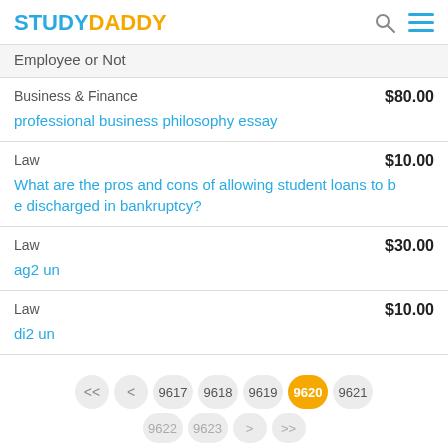STUDYDADDY
Employee or Not
Business & Finance  $80.00
professional business philosophy essay
Law  $10.00
What are the pros and cons of allowing student loans to be discharged in bankruptcy?
Law  $30.00
ag2 un
Law  $10.00
di2 un
<< < 9617 9618 9619 9620 9621
9622 9623 > >>